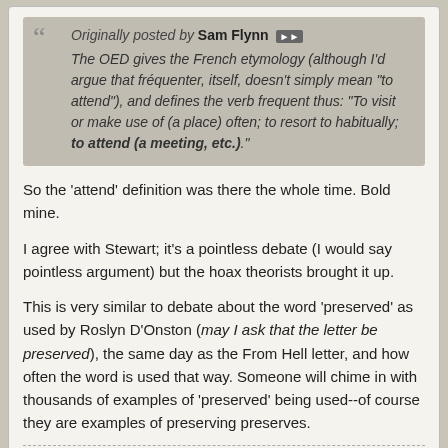Originally posted by Sam Flynn [>>]
The OED gives the French etymology (although I'd argue that fréquenter, itself, doesn't simply mean "to attend"), and defines the verb frequent thus: "To visit or make use of (a place) often; to resort to habitually; to attend (a meeting, etc.)."
So the 'attend' definition was there the whole time. Bold mine.
I agree with Stewart; it's a pointless debate (I would say pointless argument) but the hoax theorists brought it up.
This is very similar to debate about the word 'preserved' as used by Roslyn D'Onston (may I ask that the letter be preserved), the same day as the From Hell letter, and how often the word is used that way. Someone will chime in with thousands of examples of 'preserved' being used--of course they are examples of preserving preserves.
Sam Flynn — Casebook Supporter — Join Date: Feb 2008  Posts: 13143